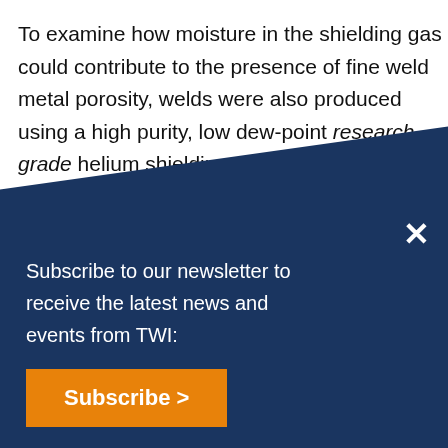To examine how moisture in the shielding gas could contribute to the presence of fine weld metal porosity, welds were also produced using a high purity, low dew-point research grade helium shielding gas and a 'modified' shielding gas deli...
[Figure (other): Dark blue diagonal overlay popup banner with newsletter subscription prompt and orange Subscribe button with X close button]